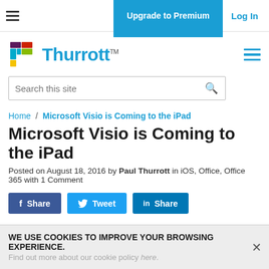Upgrade to Premium  Log In
[Figure (logo): Thurrott logo with colorful T icon and blue Thurrott text]
Search this site
Home / Microsoft Visio is Coming to the iPad
Microsoft Visio is Coming to the iPad
Posted on August 18, 2016 by Paul Thurrott in iOS, Office, Office 365 with 1 Comment
Share  Tweet  Share
WE USE COOKIES TO IMPROVE YOUR BROWSING EXPERIENCE.
Find out more about our cookie policy here.